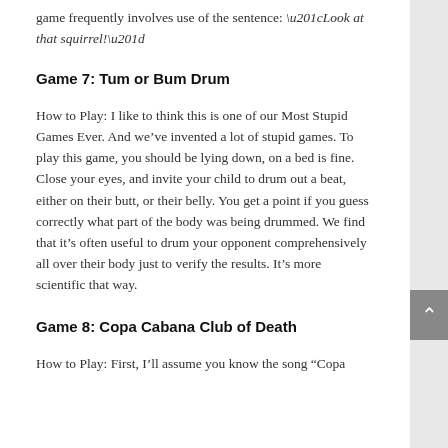game frequently involves use of the sentence: “Look at that squirrel!”
Game 7: Tum or Bum Drum
How to Play: I like to think this is one of our Most Stupid Games Ever. And we’ve invented a lot of stupid games. To play this game, you should be lying down, on a bed is fine. Close your eyes, and invite your child to drum out a beat, either on their butt, or their belly. You get a point if you guess correctly what part of the body was being drummed. We find that it’s often useful to drum your opponent comprehensively all over their body just to verify the results. It’s more scientific that way.
Game 8: Copa Cabana Club of Death
How to Play: First, I’ll assume you know the song “Copa